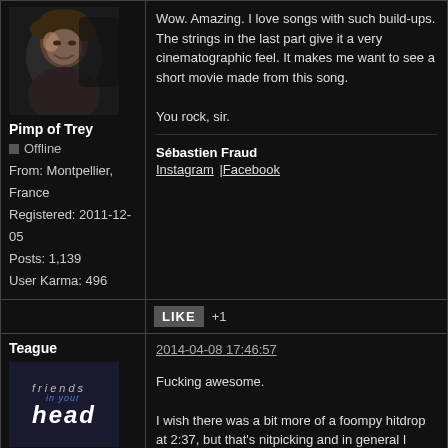[Figure (photo): Profile photo of user Pimp of Trey - man with curly hair on dark background]
Pimp of Trey
Offline
From: Montpellier, France
Registered: 2011-12-05
Posts: 1,139
User Karma: 496
Wow. Amazing. I love songs with such build-ups. The strings in the last part give it a very cinematographic feel. It makes me want to see a short movie made from this song.

You rock, sir.
Sébastien Fraud
Instagram |Facebook
LIKE +1
Teague
Administrator
Offline
Registered: 2009-11-07
Posts: 5,714
User Karma: 1,542
[Figure (logo): Friends in your head logo - stylized text logo]
2014-04-08 17:46:57
Fucking awesome.

I wish there was a bit more of a foompy hitdrop at 2:37, but that's nitpicking and in general I fucking love this song. At 3:53, I was grinning hard.